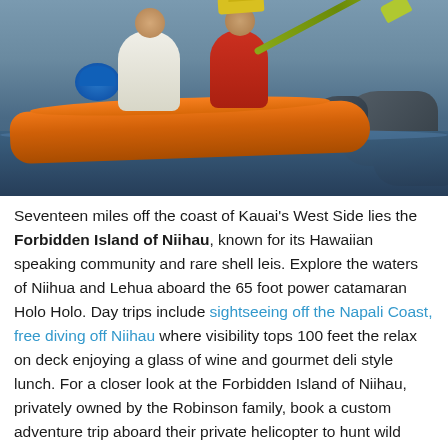[Figure (photo): Two people paddling an orange tandem kayak on dark blue water near a rocky coast. One paddler wears a white shirt, the other wears a red life vest and yellow hat. A blue dry bag is visible on the kayak.]
Seventeen miles off the coast of Kauai's West Side lies the Forbidden Island of Niihau, known for its Hawaiian speaking community and rare shell leis. Explore the waters of Niihua and Lehua aboard the 65 foot power catamaran Holo Holo. Day trips include sightseeing off the Napali Coast, free diving off Niihau where visibility tops 100 feet the relax on deck enjoying a glass of wine and gourmet deli style lunch. For a closer look at the Forbidden Island of Niihau, privately owned by the Robinson family, book a custom adventure trip aboard their private helicopter to hunt wild boar and feral sheep. The tour includes the outfitting of weapons, personal